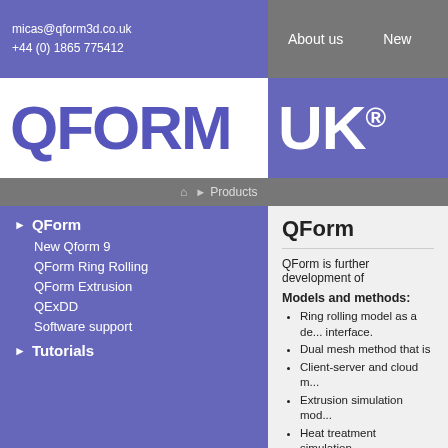micas@qform3d.co.uk
+44 (0) 1865 775412
About us   New
[Figure (logo): QFORM UK® logo in blue and white]
Products
QForm
New Qform 9
QForm Ring Rolling
QForm Extrusion
QExDD
Software support
Tutorials
QForm
QForm is further development of
Models and methods:
Ring rolling model as a de... interface.
Dual mesh method that is
Client-server and cloud m...
Extrusion simulation mod...
Heat treatment simulation...
Microstructure evolution m...
Advanced facilities for si... in flow forming
Cold forming, spring-back...
Task planer and batch mo...
Advanced parallelisation o...